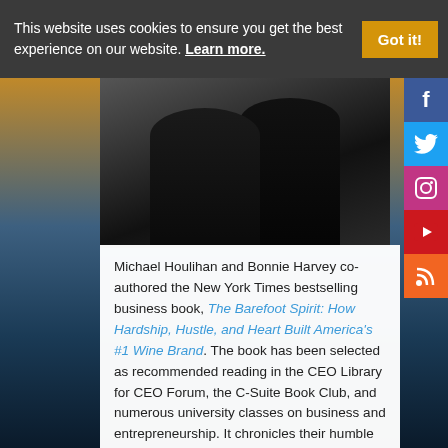This website uses cookies to ensure you get the best experience on our website. Learn more.
[Figure (photo): Two people (Michael Houlihan and Bonnie Harvey) photographed together, dressed in dark clothing]
Michael Houlihan and Bonnie Harvey co-authored the New York Times bestselling business book, The Barefoot Spirit: How Hardship, Hustle, and Heart Built America's #1 Wine Brand. The book has been selected as recommended reading in the CEO Library for CEO Forum, the C-Suite Book Club, and numerous university classes on business and entrepreneurship. It chronicles their humble beginnings from the laundry room of a rented Sonoma County farmhouse to the board room of E&J Gallo, who ultimately acquired their brand and engaged them as brand consultants.